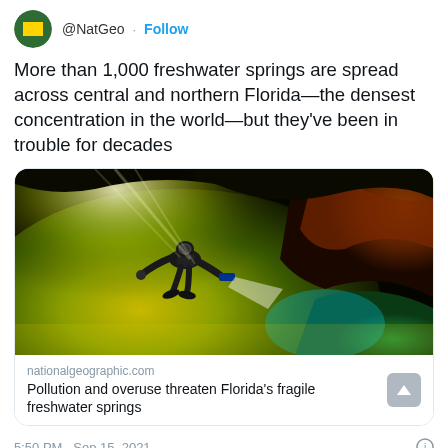@NatGeo · Follow
More than 1,000 freshwater springs are spread across central and northern Florida—the densest concentration in the world—but they've been in trouble for decades
[Figure (photo): A scuba diver with a flashlight swimming through a colorful underwater cave with yellow-green and orange rock formations and beams of light.]
nationalgeographic.com
Pollution and overuse threaten Florida's fragile freshwater springs
5:50 PM · Sep 15, 2021